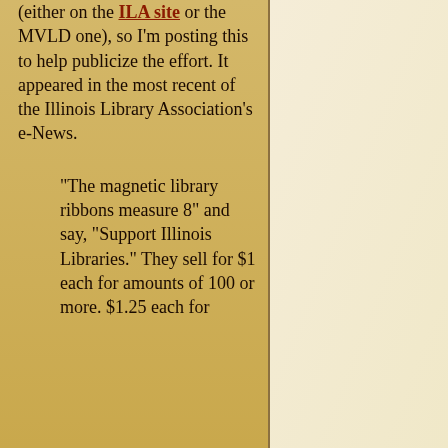(either on the ILA site or the MVLD one), so I'm posting this to help publicize the effort. It appeared in the most recent of the Illinois Library Association's e-News.
“The magnetic library ribbons measure 8” and say, “Support Illinois Libraries.” They sell for $1 each for amounts of 100 or more. $1.25 each for